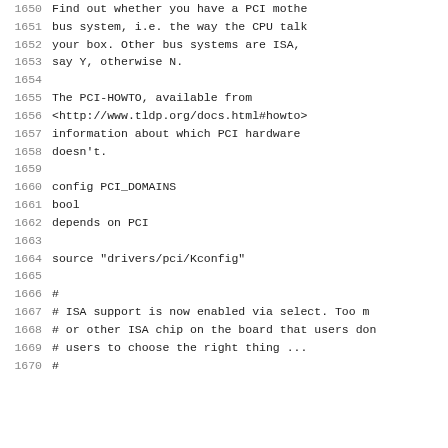1650    Find out whether you have a PCI mothe
1651            bus system, i.e. the way the CPU talk
1652            your box. Other bus systems are ISA,
1653            say Y, otherwise N.
1654
1655            The PCI-HOWTO, available from
1656            <http://www.tldp.org/docs.html#howto>
1657            information about which PCI hardware
1658            doesn't.
1659
1660    config PCI_DOMAINS
1661            bool
1662            depends on PCI
1663
1664    source "drivers/pci/Kconfig"
1665
1666    #
1667    # ISA support is now enabled via select.  Too m
1668    # or other ISA chip on the board that users don
1669    # users to choose the right thing ...
1670    #